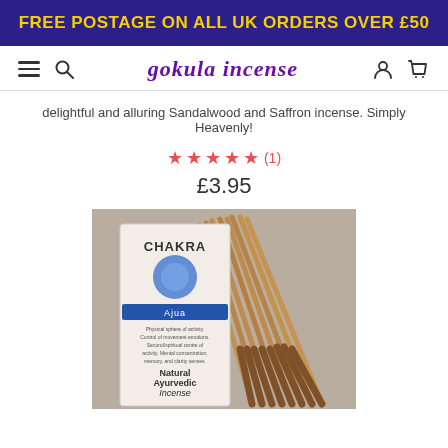FREE POSTAGE ON ALL UK ORDERS OVER £50
gokula incense
delightful and alluring Sandalwood and Saffron incense. Simply Heavenly!
★★★★★ (1)
£3.95
[Figure (photo): Photo of Chakra Ajna Natural Ayurvedic Incense sticks package with incense sticks fanned out behind it]